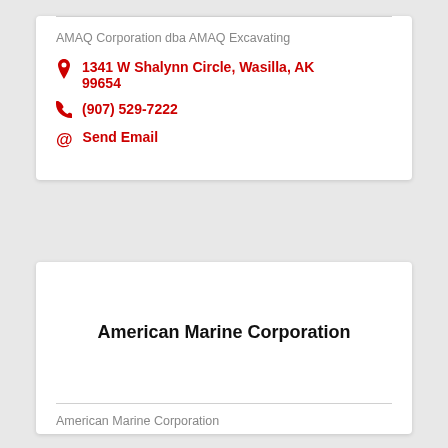AMAQ Corporation dba AMAQ Excavating
1341 W Shalynn Circle, Wasilla, AK 99654
(907) 529-7222
Send Email
American Marine Corporation
American Marine Corporation